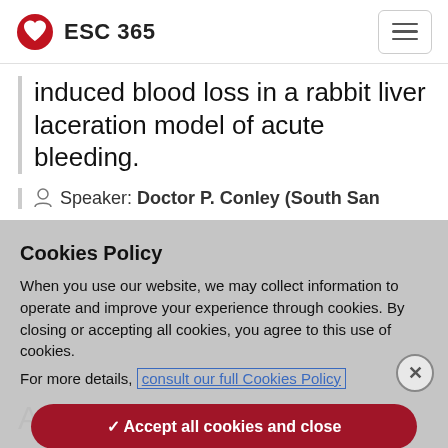ESC 365
induced blood loss in a rabbit liver laceration model of acute bleeding.
Speaker: Doctor P. Conley (South San
Cookies Policy
When you use our website, we may collect information to operate and improve your experience through cookies. By closing or accepting all cookies, you agree to this use of cookies.
For more details, consult our full Cookies Policy
✓ Accept all cookies and close
› Update my cookie settings
Access the full session